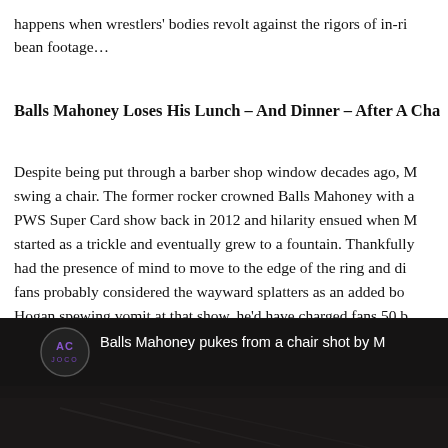happens when wrestlers' bodies revolt against the rigors of in-ri bean footage…
Balls Mahoney Loses His Lunch – And Dinner – After A Cha
Despite being put through a barber shop window decades ago, M swing a chair. The former rocker crowned Balls Mahoney with a PWS Super Card show back in 2012 and hilarity ensued when M started as a trickle and eventually grew to a fountain. Thankfully had the presence of mind to move to the edge of the ring and di fans probably considered the wayward splatters as an added bo Hogan spewing vomit at that show, he'd have charged fans 50 b
[Figure (screenshot): YouTube video thumbnail showing 'Balls Mahoney pukes from a chair shot by M' with a dark wrestling arena background and a channel logo]